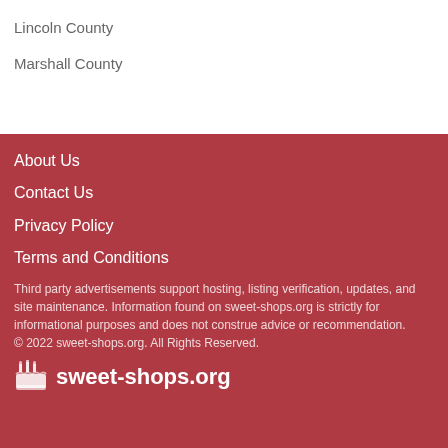Lincoln County
Marshall County
About Us
Contact Us
Privacy Policy
Terms and Conditions
Third party advertisements support hosting, listing verification, updates, and site maintenance. Information found on sweet-shops.org is strictly for informational purposes and does not construe advice or recommendation.
© 2022 sweet-shops.org. All Rights Reserved.
sweet-shops.org